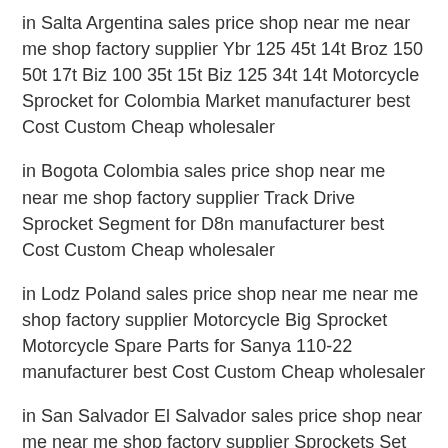in Salta Argentina sales price shop near me near me shop factory supplier Ybr 125 45t 14t Broz 150 50t 17t Biz 100 35t 15t Biz 125 34t 14t Motorcycle Sprocket for Colombia Market manufacturer best Cost Custom Cheap wholesaler
in Bogota Colombia sales price shop near me near me shop factory supplier Track Drive Sprocket Segment for D8n manufacturer best Cost Custom Cheap wholesaler
in Lodz Poland sales price shop near me near me shop factory supplier Motorcycle Big Sprocket Motorcycle Spare Parts for Sanya 110-22 manufacturer best Cost Custom Cheap wholesaler
in San Salvador El Salvador sales price shop near me near me shop factory supplier Sprockets Set of Motorcycle Parts for Gn125 En125 manufacturer best Cost Custom Cheap wholesaler
in Nice France sales price shop near me near me shop